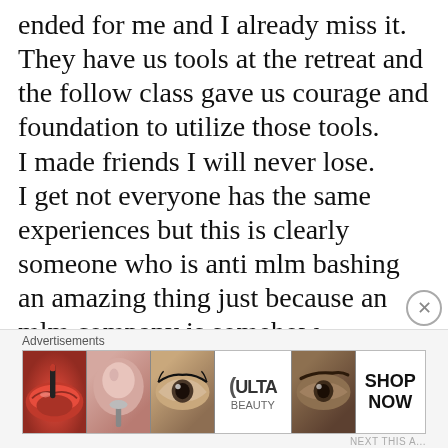ended for me and I already miss it. They have us tools at the retreat and the follow class gave us courage and foundation to utilize those tools. I made friends I will never lose. I get not everyone has the same experiences but this is clearly someone who is anti mlm bashing an amazing thing just because an mlm company is somehow connected. And I will add, when at the retreat there
[Figure (other): Advertisement banner for ULTA beauty showing close-up makeup images (lips, brush, eye, ULTA logo, eyebrows) with SHOP NOW call to action]